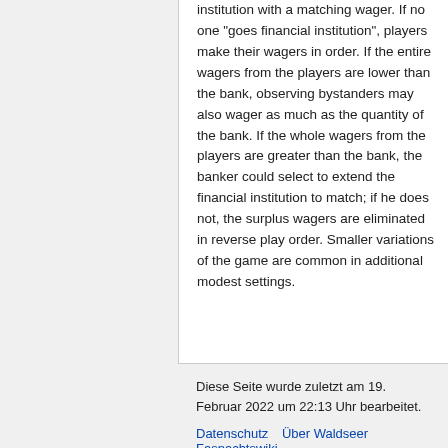institution with a matching wager. If no one "goes financial institution", players make their wagers in order. If the entire wagers from the players are lower than the bank, observing bystanders may also wager as much as the quantity of the bank. If the whole wagers from the players are greater than the bank, the banker could select to extend the financial institution to match; if he does not, the surplus wagers are eliminated in reverse play order. Smaller variations of the game are common in additional modest settings.
Diese Seite wurde zuletzt am 19. Februar 2022 um 22:13 Uhr bearbeitet.
Datenschutz  Über Waldseer Fasnachtswiki